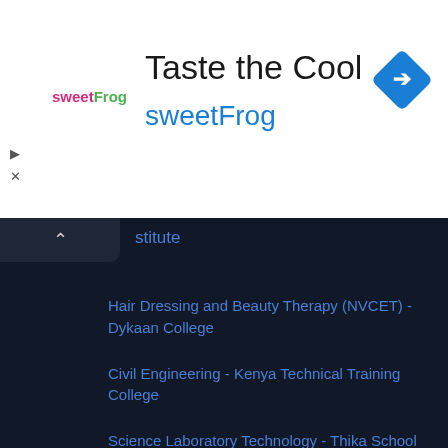[Figure (logo): sweetFrog logo — pink 'sweet' and green 'Frog' text]
Taste the Cool
sweetFrog
[Figure (other): Blue diamond navigation/directions icon with white turn-right arrow]
stitute
Hair Dressing and Beauty Therapy (NVCET) - Dykaan College
Civil Engineering - Kenya Technical Training College
Science Laboratory Technology - Thika School of Medical and Health Sciences
Community Health Assistant - Nairobi Women's Hospital College
Carpentry and Joinery - Kaiboi Technical Training Institute